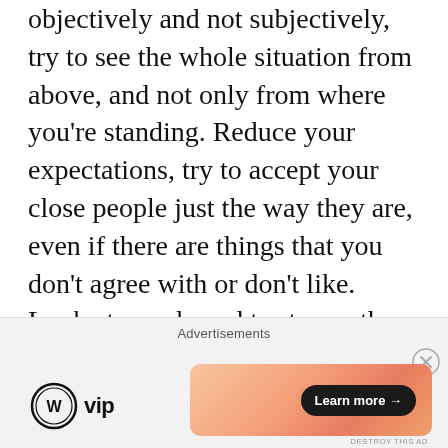objectively and not subjectively, try to see the whole situation from above, and not only from where you're standing. Reduce your expectations, try to accept your close people just the way they are, even if there are things that you don't agree with or don't like. Look at people and try to see them not as you want them to be, but how they already are, and appreciate them for that. Acknowledge the fact that no one is your puppet, everyone is a living human, with their right to be and do what they wanna do. Same for you, do not yield to anyone's expectations S... li th t li d b t i
[Figure (other): Advertisement bar at the bottom of the page. Contains 'Advertisements' label, WordPress VIP logo on the left, and a colorful gradient banner ad on the right with a 'Learn more →' button. A close (X) button appears in the upper right of the ad area.]